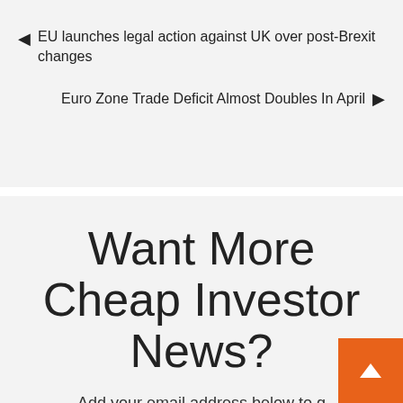◄ EU launches legal action against UK over post-Brexit changes
Euro Zone Trade Deficit Almost Doubles In April ►
Want More Cheap Investor News?
Add your email address below to get up to date market news and more!